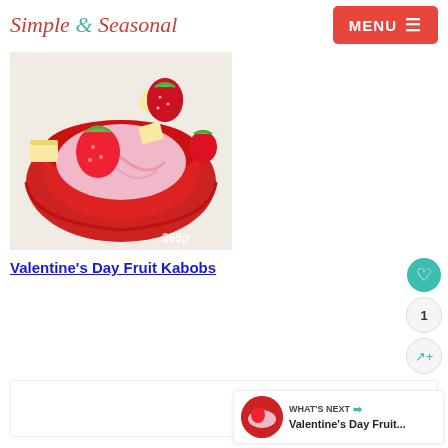Simple & Seasonal | MENU
[Figure (photo): A red bowl filled with pink yogurt fruit dip, surrounded by strawberries and banana chunks on a red heart-shaped plate. Watermark '365pi' visible in corner.]
Valentine's Day Fruit Kabobs
1
WHAT'S NEXT → Valentine's Day Fruit...